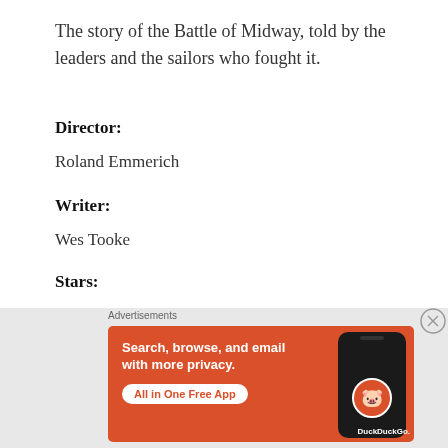The story of the Battle of Midway, told by the leaders and the sailors who fought it.
Director:
Roland Emmerich
Writer:
Wes Tooke
Stars:
[Figure (screenshot): DuckDuckGo advertisement banner with orange background. Text reads: 'Search, browse, and email with more privacy. All in One Free App' with DuckDuckGo logo and a phone image on the right.]